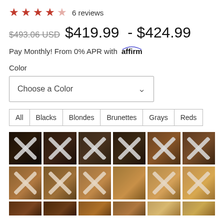★★★★☆ 6 reviews
$493.06 USD  $419.99 - $424.99
Pay Monthly! From 0% APR with affirm
Color
Choose a Color
All
Blacks
Blondes
Brunettes
Grays
Reds
[Figure (other): Grid of hair color swatches with X marks indicating unavailable colors — two rows of 6 swatches each showing various shades from black to brunette and medium brown, plus a partial third row]